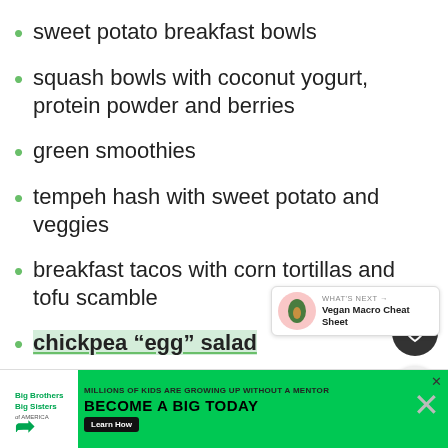sweet potato breakfast bowls
squash bowls with coconut yogurt, protein powder and berries
green smoothies
tempeh hash with sweet potato and veggies
breakfast tacos with corn tortillas and tofu scamble
chickpea “egg” salad
sweet potato and black beans
pasta with lentils
[Figure (other): WHAT'S NEXT arrow panel with avocado image: Vegan Macro Cheat Sheet]
[Figure (other): Advertisement banner: Big Brothers Big Sisters - MILLIONS OF KIDS ARE GROWING UP WITHOUT A MENTOR - BECOME A BIG TODAY - Learn How]